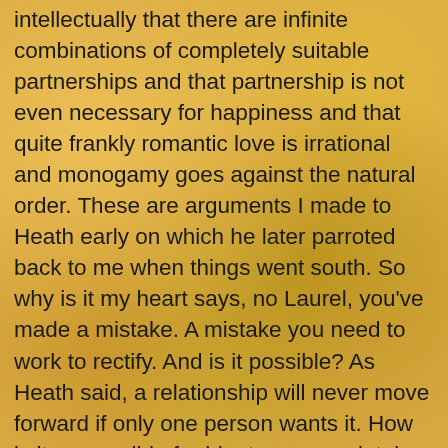intellectually that there are infinite combinations of completely suitable partnerships and that partnership is not even necessary for happiness and that quite frankly romantic love is irrational and monogamy goes against the natural order. These are arguments I made to Heath early on which he later parroted back to me when things went south. So why is it my heart says, no Laurel, you've made a mistake. A mistake you need to work to rectify. And is it possible? As Heath said, a relationship will never move forward if only one person wants it. How is it so possible for him to so completely have moved on and yet I am still in love with him? Am I forgettable, pathetic, just not worthwhile or am I, as he first teased, truly nothing but a dirty ho? Is the universe just cruel? I have to stop drawing inpriation from movies like "The Holiday" and "Chocolat". I mean, Kate Winslett is brilliant and all, but if I hadn't assumed my love was unrequited, would it have been in the end? And will I have to spend my life wondering what could have been? When does pain end? How do we speed up the process so it feels manageable? And is it possible truly to stay friends with an ex-love? I have to stop living my life like I'm in a movie or some terrible Victorian novel, seeking out the most painful